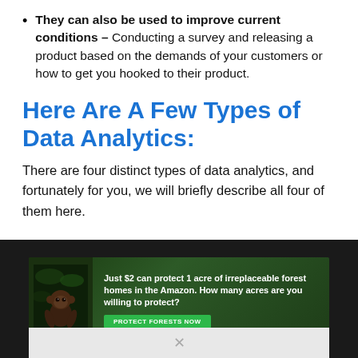They can also be used to improve current conditions – Conducting a survey and releasing a product based on the demands of your customers or how to get you hooked to their product.
Here Are A Few Types of Data Analytics:
There are four distinct types of data analytics, and fortunately for you, we will briefly describe all four of them here.
[Figure (photo): Advertisement banner: 'Just $2 can protect 1 acre of irreplaceable forest homes in the Amazon. How many acres are you willing to protect?' with a green PROTECT FORESTS NOW button and an image of a primate in a forest setting.]